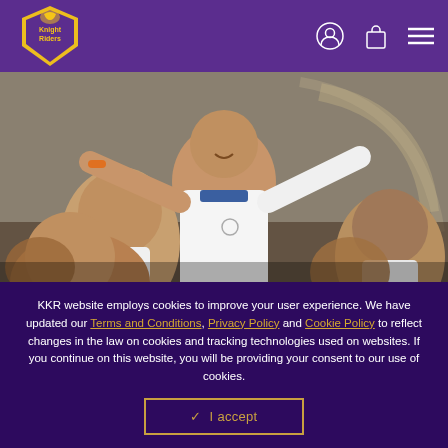Kolkata Knight Riders - KKR website navigation header with logo, user icon, cart icon, and menu icon
[Figure (photo): Chandrakant Pandit being lifted/celebrated by cricket players in white cricket attire, crowd in background, stadium arch visible]
MEET CHANDRAKANT PANDIT – THE DOYEN OF INDIAN DOMESTIC CRICKET
Pandit, for whom it will be his maiden IPL stint, is the most
KKR website employs cookies to improve your user experience. We have updated our Terms and Conditions, Privacy Policy and Cookie Policy to reflect changes in the law on cookies and tracking technologies used on websites. If you continue on this website, you will be providing your consent to our use of cookies.
✓ I accept